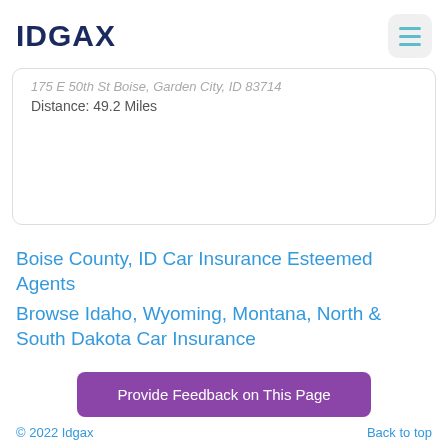IDGAX
175 E 50th St Boise, Garden City, ID 83714
Distance: 49.2 Miles
Boise County, ID Car Insurance Esteemed Agents
Browse Idaho, Wyoming, Montana, North & South Dakota Car Insurance
Provide Feedback on This Page
© 2022 Idgax    Back to top